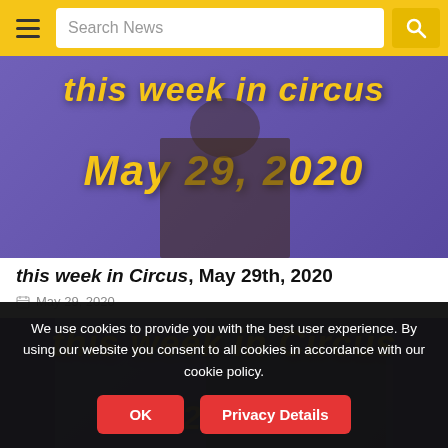Search News
[Figure (screenshot): Video thumbnail showing 'this week in Circus May 29, 2020' text in gold on purple background with a person visible]
this week in Circus, May 29th, 2020
May 29, 2020
[Figure (screenshot): Video thumbnail showing 'this week in Circus' text in gold on purple background with a person visible]
We use cookies to provide you with the best user experience. By using our website you consent to all cookies in accordance with our cookie policy.